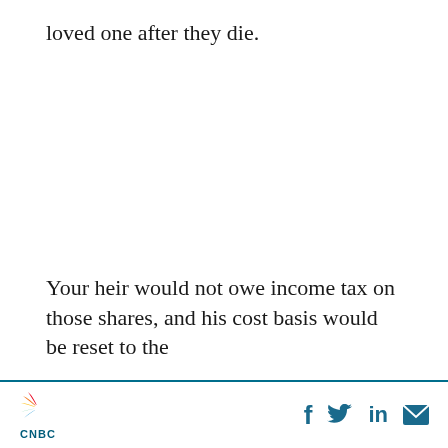loved one after they die.
Your heir would not owe income tax on those shares, and his cost basis would be reset to the
[Figure (logo): CNBC peacock logo with colorful feathers and CNBC text below]
[Figure (infographic): Social sharing icons: Facebook (f), Twitter (bird), LinkedIn (in), Email (envelope)]